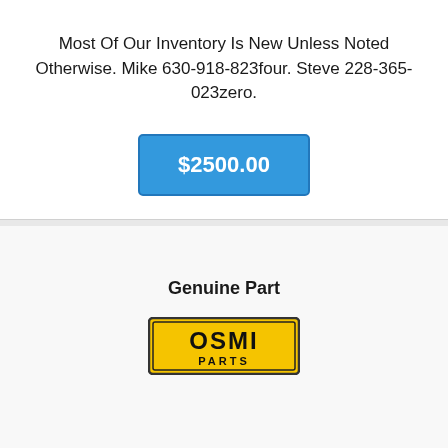Most Of Our Inventory Is New Unless Noted Otherwise. Mike 630-918-823four. Steve 228-365-023zero.
$2500.00
Genuine Part
[Figure (logo): OSMI Parts logo — yellow rectangular badge with black border, text OSMI in large black letters and PARTS below in smaller black letters on yellow background]